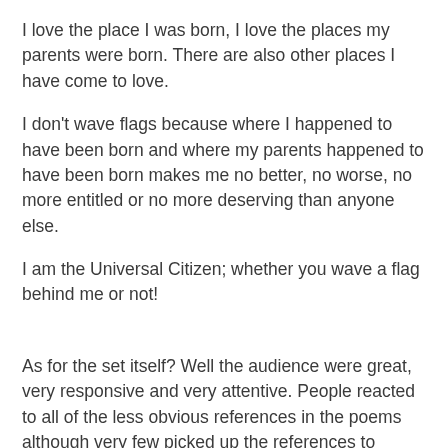I love the place I was born, I love the places my parents were born. There are also other places I have come to love.
I don't wave flags because where I happened to have been born and where my parents happened to have been born makes me no better, no worse, no more entitled or no more deserving than anyone else.
I am the Universal Citizen; whether you wave a flag behind me or not!
As for the set itself? Well the audience were great, very responsive and very attentive. People reacted to all of the less obvious references in the poems although very few picked up the references to Pancho and Lefty. The applause was warm and I was particularly pleased when people I've never met before came along to buy copies of my book which of course I was very